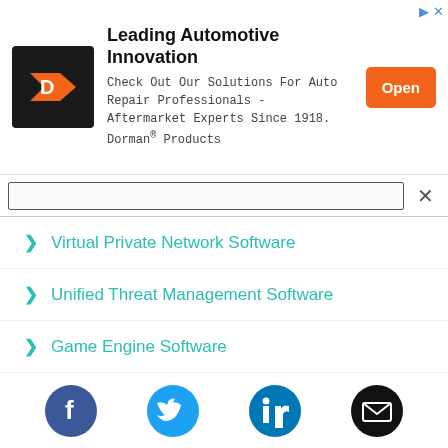[Figure (illustration): Advertisement banner for Dorman Products featuring a logo with orange D icon on black background, bold title 'Leading Automotive Innovation', body text 'Check Out Our Solutions For Auto Repair Professionals - Aftermarket Experts Since 1918. Dorman® Products', and an orange Open button.]
Virtual Private Network Software
Unified Threat Management Software
Game Engine Software
Container Engine Software
Container Monitoring Software
Container Networking Software
[Figure (illustration): Social media icon row: Facebook (blue circle with f), Twitter (blue circle with bird), LinkedIn (blue circle with in), Email (black circle with envelope icon)]